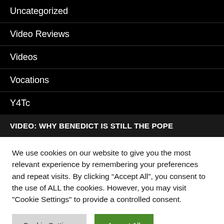Uncategorized
Video Reviews
Videos
Vocations
Y4Tc
VIDEO: WHY BENEDICT IS STILL THE POPE
We use cookies on our website to give you the most relevant experience by remembering your preferences and repeat visits. By clicking “Accept All”, you consent to the use of ALL the cookies. However, you may visit "Cookie Settings" to provide a controlled consent.